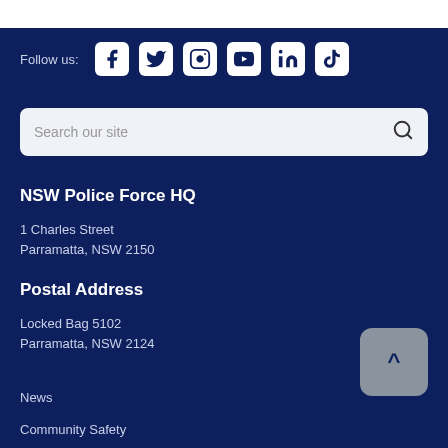Follow us:
[Figure (infographic): Social media icons: Facebook, Twitter, Instagram, YouTube, LinkedIn, TikTok]
Search our site
NSW Police Force HQ
1 Charles Street
Parramatta, NSW 2150
Postal Address
Locked Bag 5102
Parramatta, NSW 2124
News
Community Safety